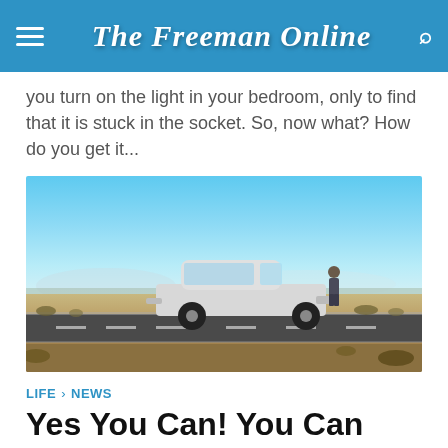The Freeman Online
you turn on the light in your bedroom, only to find that it is stuck in the socket. So, now what? How do you get it...
[Figure (photo): A white SUV parked on a desert road with a person standing beside it under a clear blue sky]
LIFE · NEWS
Yes You Can! You Can Rent A Car Even If You Are A Younger